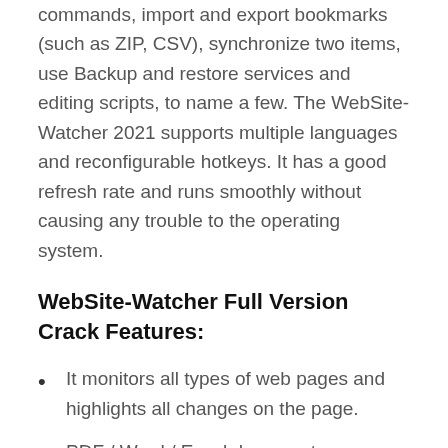commands, import and export bookmarks (such as ZIP, CSV), synchronize two items, use Backup and restore services and editing scripts, to name a few. The WebSite-Watcher 2021 supports multiple languages and reconfigurable hotkeys. It has a good refresh rate and runs smoothly without causing any trouble to the operating system.
WebSite-Watcher Full Version Crack Features:
It monitors all types of web pages and highlights all changes on the page.
PDF / Word / Excel documents are automatically converted to HTML format, so you can use all available functions to monitor these documents.